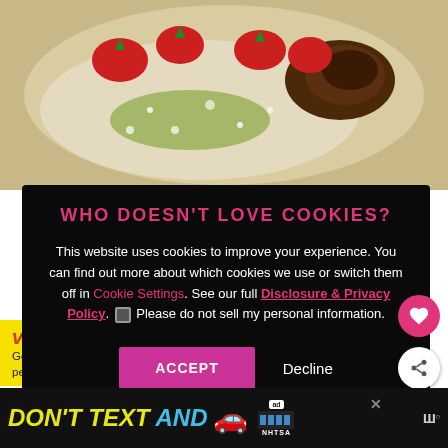[Figure (photo): Food photo showing strawberries, chocolate, and powdered sugar on a plate]
WHO DOESN'T LOVE COOKIES?
This website uses cookies to improve your experience. You can find out more about which cookies we use or switch them off in Cookie Settings. See our full Disclosure & Privacy Policy. Please do not sell my personal information.
[Figure (screenshot): ACCEPT button (pink) and Decline button]
[Figure (screenshot): What's Next panel with article thumbnail: Where To Stay and Eat in...]
vaccinated? Getting immunized against COVID-19 will protect most people from getting sick or becoming seriously ill
DON'T TEXT AND [car emoji]
ad NHTSA